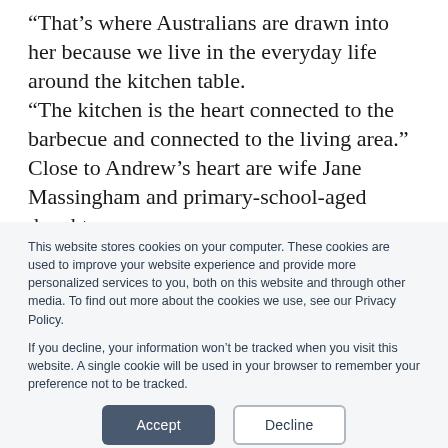“That’s where Australians are drawn into her because we live in the everyday life around the kitchen table. “The kitchen is the heart connected to the barbecue and connected to the living area.” Close to Andrew’s heart are wife Jane Massingham and primary-school-aged daughters
This website stores cookies on your computer. These cookies are used to improve your website experience and provide more personalized services to you, both on this website and through other media. To find out more about the cookies we use, see our Privacy Policy.

If you decline, your information won’t be tracked when you visit this website. A single cookie will be used in your browser to remember your preference not to be tracked.